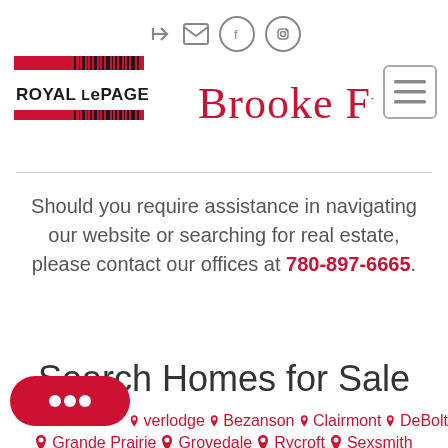[Figure (logo): Royal LePage logo — red horizontal bars with barcode-style lines and text 'ROYAL LePAGE']
[Figure (illustration): Brooke Funk cursive/script signature in red]
[Figure (other): Hamburger menu icon (three horizontal lines in a rounded rectangle border)]
Should you require assistance in navigating our website or searching for real estate, please contact our offices at 780-897-6665.
Search Homes for Sale
Overlodge  Bezanson  Clairmont  DeBolt
Grande Prairie  Grovedale  Rycroft  Sexsmith